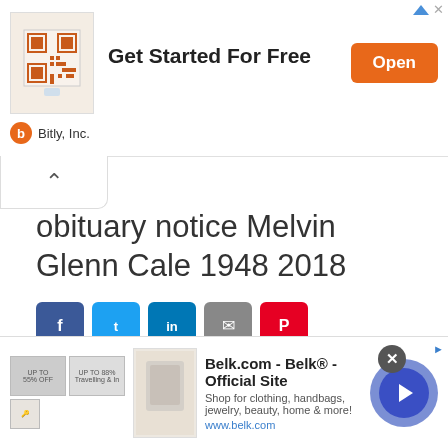[Figure (screenshot): Top advertisement banner for Bitly Inc. showing QR code image, 'Get Started For Free' headline, and orange 'Open' button]
[Figure (screenshot): Collapse/accordion tab with upward chevron arrow]
obituary notice Melvin Glenn Cale 1948 2018
[Figure (infographic): Row of 5 social share buttons: Facebook (dark blue), Twitter (light blue), LinkedIn (medium blue), Email (gray), Pinterest (red)]
This archive page is a cache that aims to check the legality of the content of the hyperlink and could have changed in the meantime. Go to SOURCE above to go to the original page.
[Figure (screenshot): Bottom advertisement for Belk.com - Belk Official Site with shop description and navigation arrow]